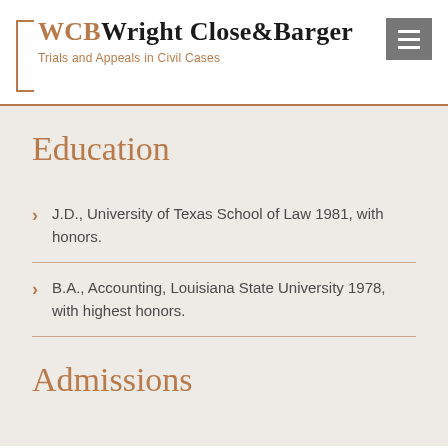WCB Wright Close & Barger — Trials and Appeals in Civil Cases
Education
J.D., University of Texas School of Law 1981, with honors.
B.A., Accounting, Louisiana State University 1978, with highest honors.
Admissions